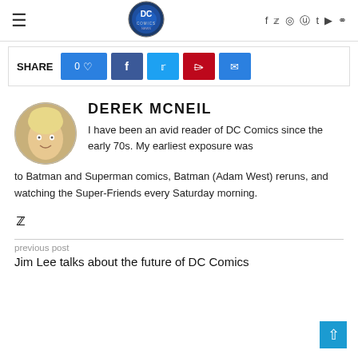DC Comics News
[Figure (logo): DC Comics News circular logo in blue and dark tones]
SHARE  0♡  f  𝕥  ⊕  ✉
DEREK MCNEIL
[Figure (photo): Circular avatar photo of a young blonde child smiling]
I have been an avid reader of DC Comics since the early 70s. My earliest exposure was to Batman and Superman comics, Batman (Adam West) reruns, and watching the Super-Friends every Saturday morning.
Twitter icon
previous post
Jim Lee talks about the future of DC Comics